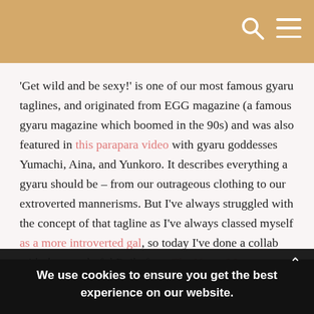'Get wild and be sexy!' is one of our most famous gyaru taglines, and originated from EGG magazine (a famous gyaru magazine which boomed in the 90s) and was also featured in this parapara video with gyaru goddesses Yumachi, Aina, and Yunkoro. It describes everything a gyaru should be – from our outrageous clothing to our extroverted mannerisms. But I've always struggled with the concept of that tagline as I've always classed myself as a more introverted gal, so today I've done a collab with the wonderful Reila from The Name I Love on
what it means to us (I will drop a link to her blog post at the bottom for you to read also)
We use cookies to ensure you get the best experience on our website.
OK
MORE INFORMATION